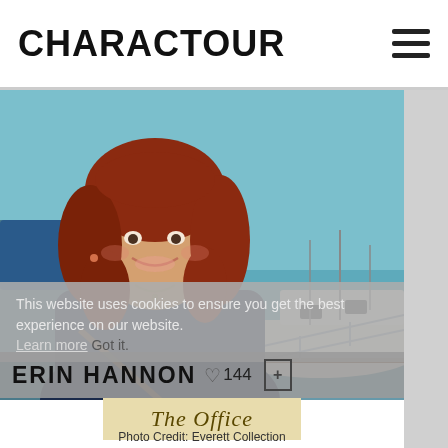CHARACTOUR
[Figure (photo): Young woman with red curly hair smiling, wearing a dark navy coat, standing in front of a marina with sailboats in the background.]
This website uses cookies to ensure you get the best experience on our website.
Learn more   Got it.
ERIN HANNON ♡144
The Office
Photo Credit: Everett Collection